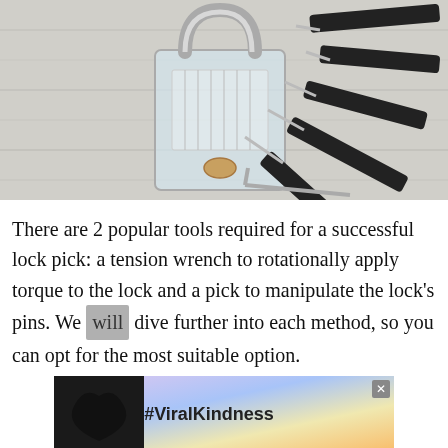[Figure (photo): A transparent practice padlock on a light gray wooden surface, surrounded by various lock pick tools with black handles fanned out to the right.]
There are 2 popular tools required for a successful lock pick: a tension wrench to rotationally apply torque to the lock and a pick to manipulate the lock's pins. We will dive further into each method, so you can opt for the most suitable option.
[Figure (photo): Advertisement banner: #ViralKindness with a heart hand gesture silhouette on a sunset background.]